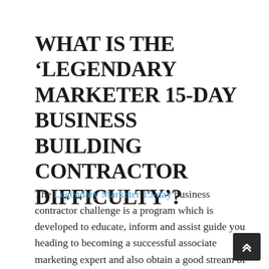WHAT IS THE ‘LEGENDARY MARKETER 15-DAY BUSINESS BUILDING CONTRACTOR DIFFICULTY’?
The Legendary Marketer 15-day business contractor challenge is a program which is developed to educate, inform and assist guide you heading to becoming a successful associate marketing expert and also obtain a good stream of sales within the initial 15 days in which you can then expand upon as well as accumulate. We very recommend it to everyone who wants becoming an associate marketing professional, even if you think you